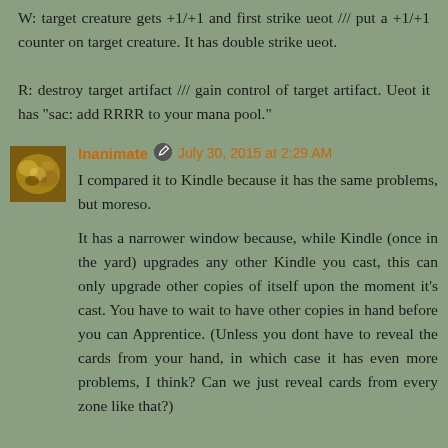W: target creature gets +1/+1 and first strike ueot /// put a +1/+1 counter on target creature. It has double strike ueot.

R: destroy target artifact /// gain control of target artifact. Ueot it has "sac: add RRRR to your mana pool."
Inanimate
July 30, 2015 at 2:29 AM
I compared it to Kindle because it has the same problems, but moreso.
It has a narrower window because, while Kindle (once in the yard) upgrades any other Kindle you cast, this can only upgrade other copies of itself upon the moment it's cast. You have to wait to have other copies in hand before you can Apprentice. (Unless you dont have to reveal the cards from your hand, in which case it has even more problems, I think? Can we just reveal cards from every zone like that?)